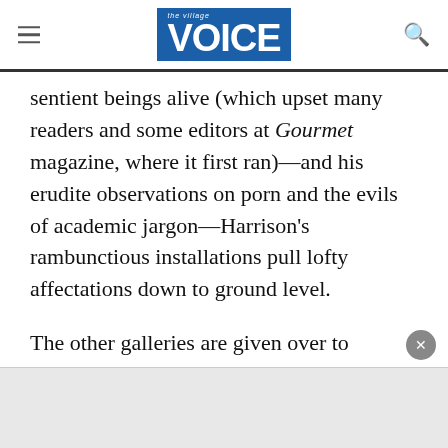the village Voice
sentient beings alive (which upset many readers and some editors at Gourmet magazine, where it first ran)—and his erudite observations on porn and the evils of academic jargon—Harrison's rambunctious installations pull lofty affectations down to ground level.
The other galleries are given over to selections from the Hessel Collection, on which the Center was founded. The artworks are all from the past half-century and include such sardonic pieces as Paul